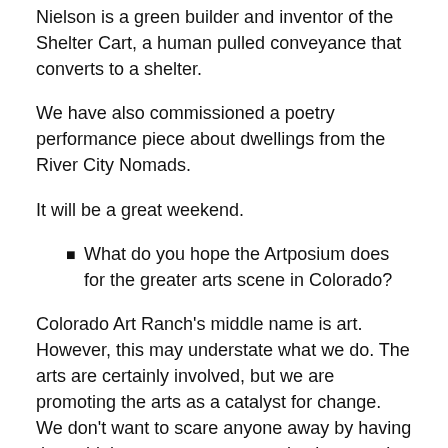Nielson is a green builder and inventor of the Shelter Cart, a human pulled conveyance that converts to a shelter.
We have also commissioned a poetry performance piece about dwellings from the River City Nomads.
It will be a great weekend.
What do you hope the Artposium does for the greater arts scene in Colorado?
Colorado Art Ranch's middle name is art. However, this may understate what we do. The arts are certainly involved, but we are promoting the arts as a catalyst for change.  We don't want to scare anyone away by having them think our programs are only about, and for, artists. On a large scale we hope to raise the level of creative capital throughout Colorado. We want to see creative